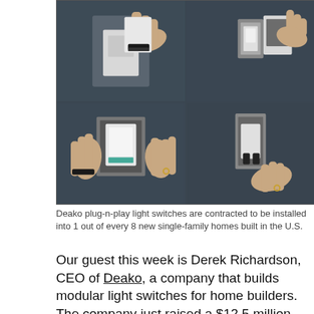[Figure (photo): Four-panel photo grid showing hands installing Deako plug-n-play light switches against a dark blue-gray background. Top-left: hand inserting a white faceplate onto a switch. Top-right: hand holding a faceplate near a mounted smart switch. Bottom-left: two hands installing a white switch module into a wall box. Bottom-right: installed switch module with black connectors visible in a wall box.]
Deako plug-n-play light switches are contracted to be installed into 1 out of every 8 new single-family homes built in the U.S.
Our guest this week is Derek Richardson, CEO of Deako, a company that builds modular light switches for home builders. The company just raised a $12.5 million funding round, so Richardson and I discuss the plans for the money and the changes happening in the builder market when it